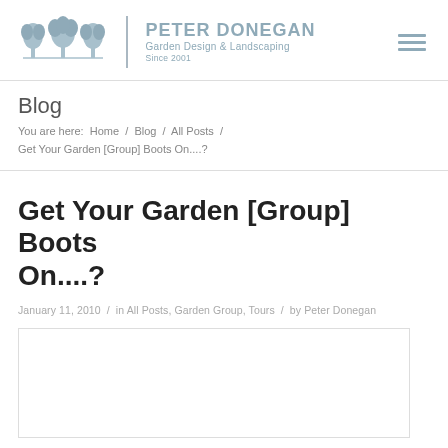Peter Donegan Garden Design & Landscaping Since 2001
Blog
You are here: Home / Blog / All Posts / Get Your Garden [Group] Boots On....?
Get Your Garden [Group] Boots On....?
January 11, 2010 / in All Posts, Garden Group, Tours / by Peter Donegan
[Figure (photo): White/blank image placeholder box with a thin border]